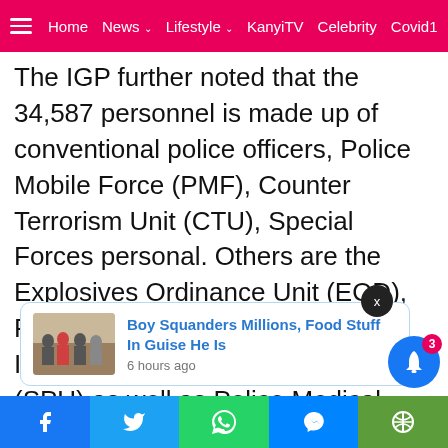≡  Home  News ∨  Lifestyle ∨  KanyiTV  Celebrity  Covid1
The IGP further noted that the 34,587 personnel is made up of conventional police officers, Police Mobile Force (PMF), Counter Terrorism Unit (CTU), Special Forces personal. Others are the Explosives Ordinance Unit (EOD), Force Intelligence Bureau (FIB), INTERPOL, Special Protection Unit (SPU) as well as Police Medical Teams.
[Figure (screenshot): Notification popup with image of people and text: Boy Squanders Millions, Food Stuff In Guise He Is — 6 hours ago]
Facebook  Twitter  WhatsApp  Messenger  (green button)